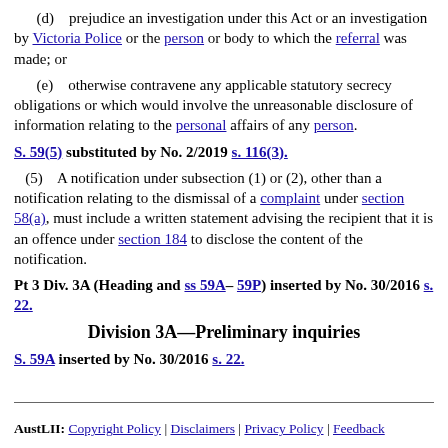(d) prejudice an investigation under this Act or an investigation by Victoria Police or the person or body to which the referral was made; or
(e) otherwise contravene any applicable statutory secrecy obligations or which would involve the unreasonable disclosure of information relating to the personal affairs of any person.
S. 59(5) substituted by No. 2/2019 s. 116(3).
(5) A notification under subsection (1) or (2), other than a notification relating to the dismissal of a complaint under section 58(a), must include a written statement advising the recipient that it is an offence under section 184 to disclose the content of the notification.
Pt 3 Div. 3A (Heading and ss 59A– 59P) inserted by No. 30/2016 s. 22.
Division 3A—Preliminary inquiries
S. 59A inserted by No. 30/2016 s. 22.
AustLII: Copyright Policy | Disclaimers | Privacy Policy | Feedback